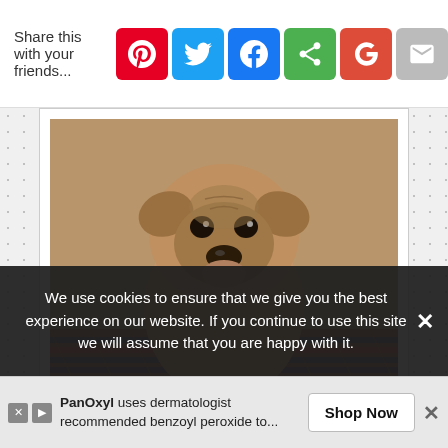Share this with your friends...
[Figure (photo): Close-up photo of a small tan/brown chihuahua mix dog sitting and looking at the camera, with a patterned rug in the background]
The Sitcom is protected by a guard chihuahua with PMS and terrible breath. Beware! Feel free to link to or feature (no more than one image, please) any tutorials on this site, as long as credit is given and permission is obtained by the author. Tutorials are for personal (non-commercial) use only.
We use cookies to ensure that we give you the best experience on our website. If you continue to use this site we will assume that you are happy with it.
PanOxyl uses dermatologist recommended benzoyl peroxide to... Shop Now